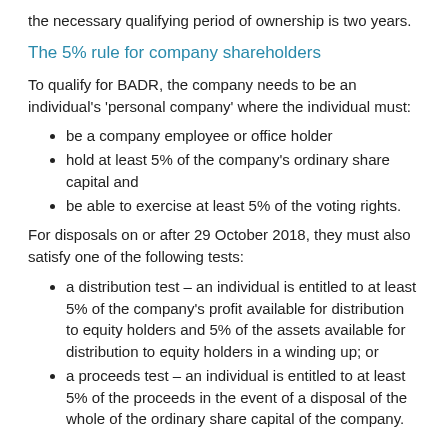the necessary qualifying period of ownership is two years.
The 5% rule for company shareholders
To qualify for BADR, the company needs to be an individual's 'personal company' where the individual must:
be a company employee or office holder
hold at least 5% of the company's ordinary share capital and
be able to exercise at least 5% of the voting rights.
For disposals on or after 29 October 2018, they must also satisfy one of the following tests:
a distribution test – an individual is entitled to at least 5% of the company's profit available for distribution to equity holders and 5% of the assets available for distribution to equity holders in a winding up; or
a proceeds test – an individual is entitled to at least 5% of the proceeds in the event of a disposal of the whole of the ordinary share capital of the company.